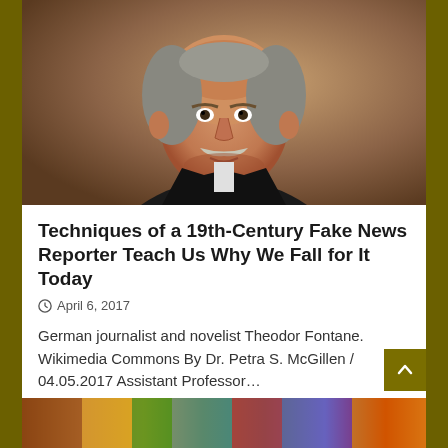[Figure (photo): Portrait painting of German journalist and novelist Theodor Fontane, an older man with a mustache, wearing a dark suit with bow tie, painted in 19th century style]
Techniques of a 19th-Century Fake News Reporter Teach Us Why We Fall for It Today
April 6, 2017
German journalist and novelist Theodor Fontane. Wikimedia Commons By Dr. Petra S. McGillen / 04.05.2017 Assistant Professor…
Read More
[Figure (photo): Partial view of a colorful image at the bottom of the page, showing bright colors including red, orange, yellow, green and blue]